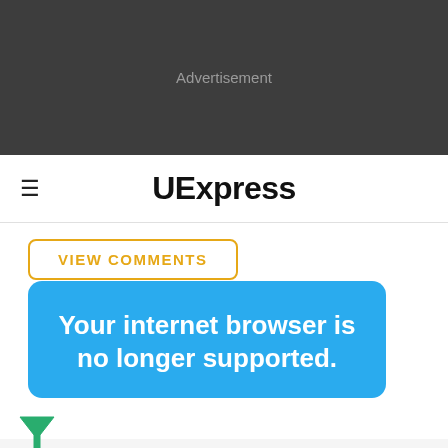[Figure (other): Advertisement banner area — dark gray background with 'Advertisement' label]
UExpress
VIEW COMMENTS
Your internet browser is no longer supported.
To get the best experience on our site, we recommend you upgrade to the latest version.
Report an ad